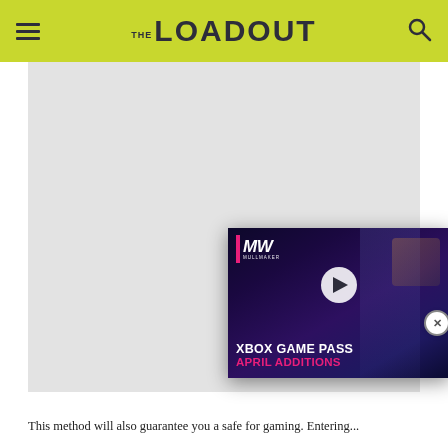THE LOADOUT
[Figure (screenshot): Gray placeholder image area for a gaming article on The Loadout website, with an overlaid video thumbnail for 'Xbox Game Pass April Additions' from MullaMaker (MW) channel, featuring a dark purple/blue background with a play button and pink text.]
This method will also guarantee you a safe for gaming. Entering...